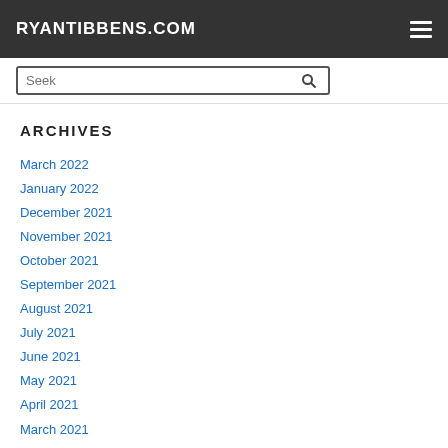RYANTIBBENS.COM
March 2022
January 2022
December 2021
November 2021
October 2021
September 2021
August 2021
July 2021
June 2021
May 2021
April 2021
March 2021
February 2021
January 2021